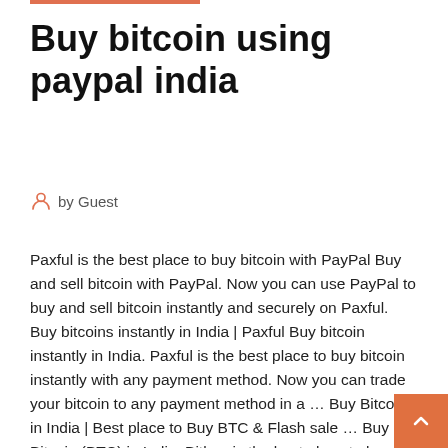Buy bitcoin using paypal india
by Guest
Paxful is the best place to buy bitcoin with PayPal Buy and sell bitcoin with PayPal. Now you can use PayPal to buy and sell bitcoin instantly and securely on Paxful. Buy bitcoins instantly in India | Paxful Buy bitcoin instantly in India. Paxful is the best place to buy bitcoin instantly with any payment method. Now you can trade your bitcoin to any payment method in a … Buy Bitcoin in India | Best place to Buy BTC & Flash sale … Buy Bitcoin (BTC) in India, Bitbns is the best place to buy and sell BTCs in India. Get yourself registered for First Bitcoin flash sale in India and get free BTCs. This app works best with JavaScript enabled. Buy Bitcoin with Credit Card | Bitcoin.com Buy Bitcoin online with your credit card or debit card. Buy Bitcoin Cash, Bitcoin Core(BTC) and other cryptocurrencies instantly. Ou…